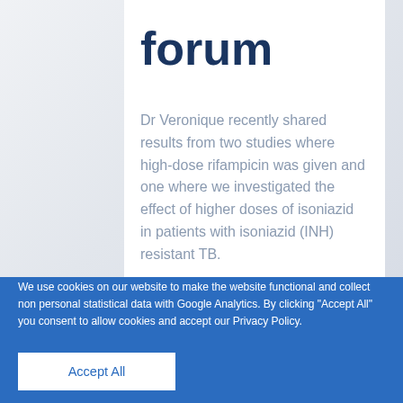forum
Dr Veronique recently shared results from two studies where high-dose rifampicin was given and one where we investigated the effect of higher doses of isoniazid in patients with isoniazid (INH) resistant TB.
We use cookies on our website to make the website functional and collect non personal statistical data with Google Analytics. By clicking “Accept All” you consent to allow cookies and accept our Privacy Policy.
Accept All